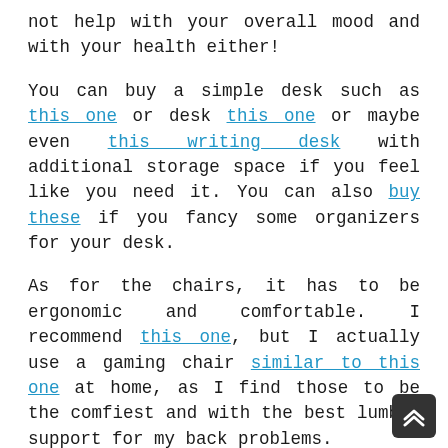not help with your overall mood and with your health either!

You can buy a simple desk such as this one or desk this one or maybe even this writing desk with additional storage space if you feel like you need it. You can also buy these if you fancy some organizers for your desk.

As for the chairs, it has to be ergonomic and comfortable. I recommend this one, but I actually use a gaming chair similar to this one at home, as I find those to be the comfiest and with the best lumbar support for my back problems.

I also recommend investing in some high-quality headphones – these are going to be super useful during the calls and video calls with your coworkers. Some noise cancelling headphones are ideal in this situation, especially if you have kids who are at home